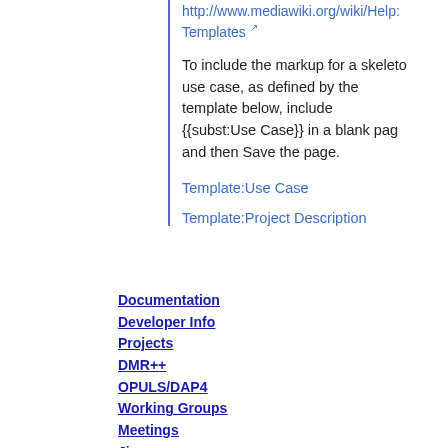http://www.mediawiki.org/wiki/Help:Templates
To include the markup for a skeleton use case, as defined by the template below, include {{subst:Use Case}} in a blank page and then Save the page.
Template:Use Case
Template:Project Description
Documentation
Developer Info
Projects
DMR++
OPULS/DAP4
Working Groups
Meetings
Jira
GitHub